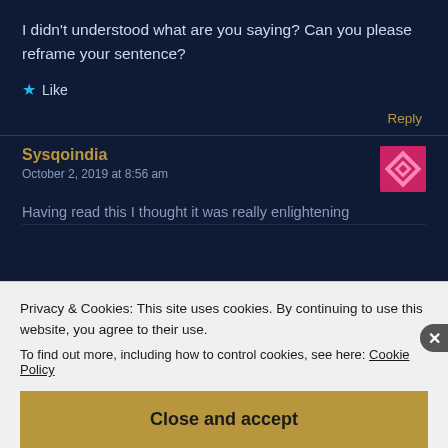I didn't understood what are you saying? Can you please reframe your sentence?
★ Like
Reply
Sysqoindia
October 2, 2019 at 8:56 am
Having read this I thought it was really enlightening
Privacy & Cookies: This site uses cookies. By continuing to use this website, you agree to their use.
To find out more, including how to control cookies, see here: Cookie Policy
Close and accept